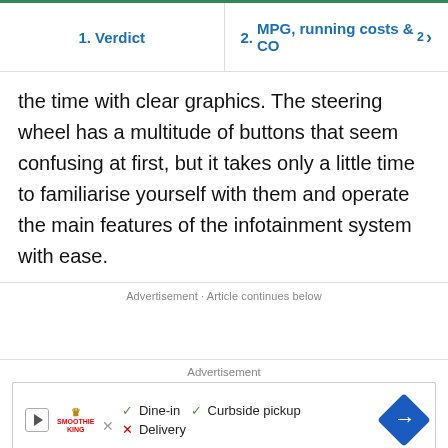1. Verdict  |  2. MPG, running costs & CO2 ›
the time with clear graphics. The steering wheel has a multitude of buttons that seem confusing at first, but it takes only a little time to familiarise yourself with them and operate the main features of the infotainment system with ease.
Advertisement · Article continues below
Advertisement
[Figure (other): Advertisement banner showing Smoothie King logo with play button, checkmarks for Dine-in and Curbside pickup, X for Delivery, and a blue navigation arrow icon]